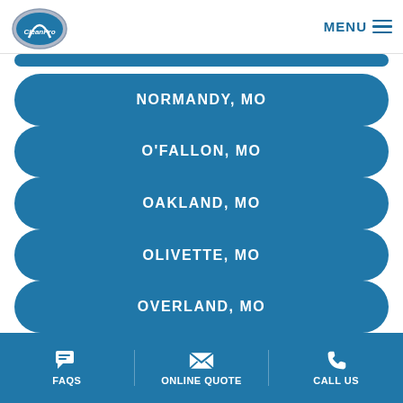[Figure (logo): CleanPro logo — circular silver/blue emblem with arch and text 'CleanPro']
NORMANDY, MO
O'FALLON, MO
OAKLAND, MO
OLIVETTE, MO
OVERLAND, MO
FAQS   ONLINE QUOTE   CALL US